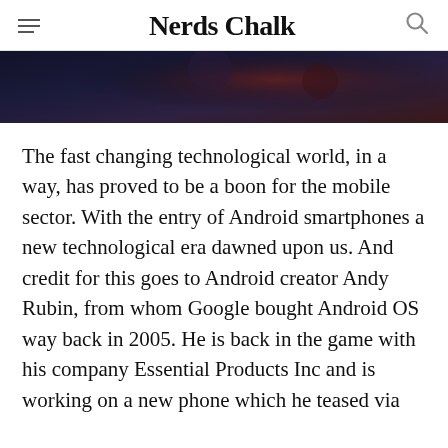Nerds Chalk
[Figure (photo): Dark atmospheric hero image with blue and red tones]
The fast changing technological world, in a way, has proved to be a boon for the mobile sector. With the entry of Android smartphones a new technological era dawned upon us. And credit for this goes to Android creator Andy Rubin, from whom Google bought Android OS way back in 2005. He is back in the game with his company Essential Products Inc and is working on a new phone which he teased via